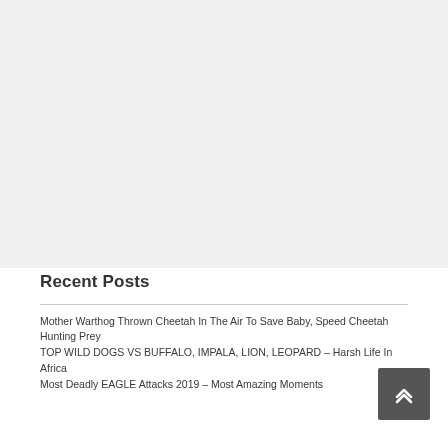[Figure (other): Large blank/advertisement area at top of page, light gray background placeholder]
Recent Posts
Mother Warthog Thrown Cheetah In The Air To Save Baby, Speed Cheetah Hunting Prey
TOP WILD DOGS VS BUFFALO, IMPALA, LION, LEOPARD – Harsh Life In Africa
Most Deadly EAGLE Attacks 2019 – Most Amazing Moments